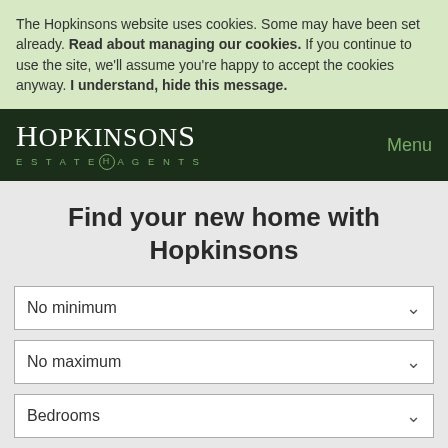The Hopkinsons website uses cookies. Some may have been set already. Read about managing our cookies. If you continue to use the site, we'll assume you're happy to accept the cookies anyway. I understand, hide this message.
HOPKINSONS ESTATE AGENTS | Menu
Find your new home with Hopkinsons
No minimum
No maximum
Bedrooms
Search